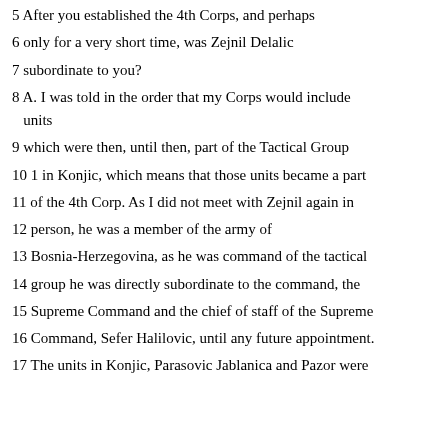5 After you established the 4th Corps, and perhaps
6 only for a very short time, was Zejnil Delalic
7 subordinate to you?
8 A. I was told in the order that my Corps would include units
9 which were then, until then, part of the Tactical Group
10 1 in Konjic, which means that those units became a part
11 of the 4th Corp. As I did not meet with Zejnil again in
12 person, he was a member of the army of
13 Bosnia-Herzegovina, as he was command of the tactical
14 group he was directly subordinate to the command, the
15 Supreme Command and the chief of staff of the Supreme
16 Command, Sefer Halilovic, until any future appointment.
17 The units in Konjic, Parasovic Jablanica and Pazor were